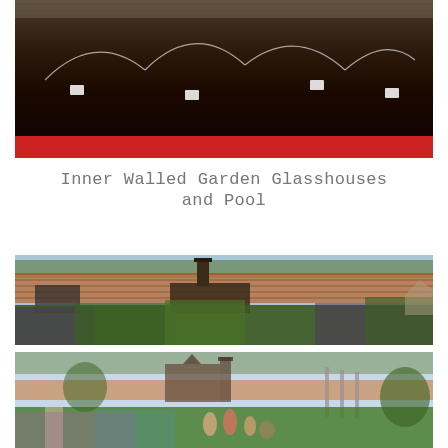[Figure (photo): Close-up photograph of a raised planting bed or trough filled with dark soil, with small white plant markers/labels, and a bright red border/edge along the bottom. Drip irrigation wires visible in the soil.]
Inner Walled Garden Glasshouses
and Pool
[Figure (photo): Wide view of a walled garden with a tall brick wall in the background, a chimney stack and dark stone building visible above the wall, lush green and purple plants filling the foreground beds.]
[Figure (photo): Wide view of a formal walled garden with a gothic-style building and tower in the background, visitors walking among flower beds, a brick wall and various ornamental plants and trees in the foreground.]